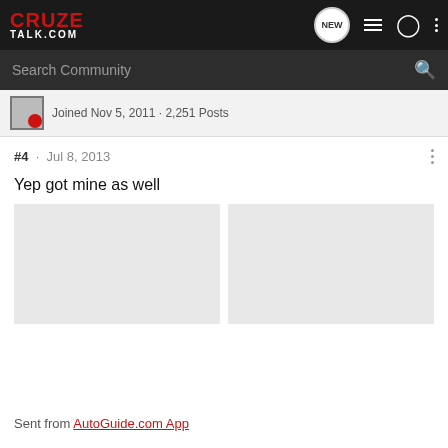CruzeTalk.com — NEW | menu | user | more
Search Community
Joined Nov 5, 2011 · 2,251 Posts
#4 · Jul 8, 2013
Yep got mine as well
[Figure (photo): Two placeholder image thumbnails side by side]
Sent from AutoGuide.com App